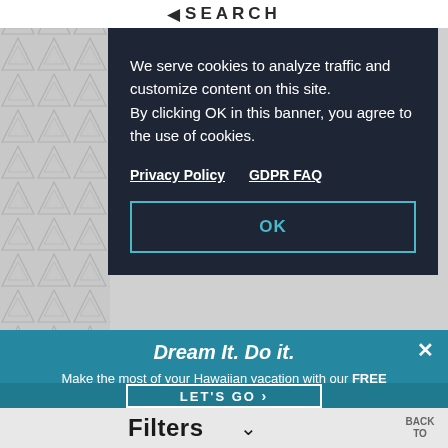◀ SEARCH
We serve cookies to analyze traffic and customize content on this site. By clicking OK in this banner, you agree to the use of cookies.
Privacy Policy   GDPR FAQ
OK
Filters ∨   BACK TO
Dream It. Do it.
Make the most of your Hawaiian vacation with our FREE Official Visitors' Guide.
LET'S GO ›